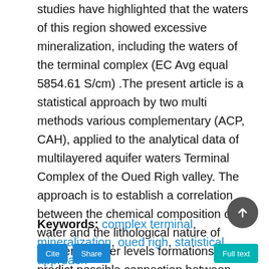studies have highlighted that the waters of this region showed excessive mineralization, including the waters of the terminal complex (EC Avg equal 5854.61 S/cm) .The present article is a statistical approach by two multi methods various complementary (ACP, CAH), applied to the analytical data of multilayered aquifer waters Terminal Complex of the Oued Righ valley. The approach is to establish a correlation between the chemical composition of water and the lithological nature of different aquifer levels formations, and predict possible connection between groundwater's layers. The results show that the mineralization of water is from geological origin. They concern the composition of the layers that make up the complex terminal.
Keywords: complex terminal, mineralization, oued righ, statistical approach